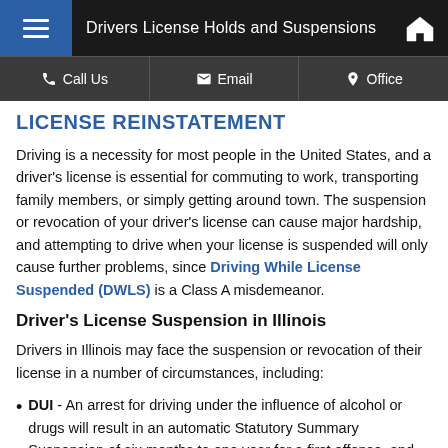Drivers License Holds and Suspensions
LICENSE REINSTATEMENT
Driving is a necessity for most people in the United States, and a driver's license is essential for commuting to work, transporting family members, or simply getting around town. The suspension or revocation of your driver's license can cause major hardship, and attempting to drive when your license is suspended will only cause further problems, since Driving While License Suspended (DWLS) is a Class A misdemeanor.
Driver's License Suspension in Illinois
Drivers in Illinois may face the suspension or revocation of their license in a number of circumstances, including:
DUI - An arrest for driving under the influence of alcohol or drugs will result in an automatic Statutory Summary Suspension of six months to one year for a first offense, and one to three years for a second or subsequent offense